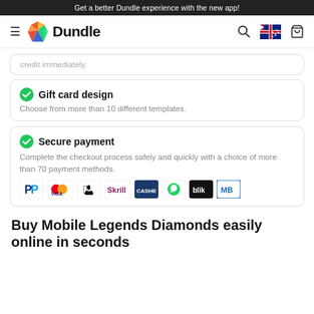Get a better Dundle experience with the new app!
[Figure (logo): Dundle navigation bar with hamburger menu, colorful diamond logo, Dundle text, search icon, Australian flag, and cart icon]
credit immediately.
Gift card design
Choose from more than 10 different templates.
Secure payment
Complete the checkout process safely and quickly with a choice of more than 70 payment methods.
[Figure (infographic): Payment method icons: PayPal, Mastercard/Visa, Apple Pay, Skrill, Cashlib, WhatsApp Pay, Blik, MB]
Buy Mobile Legends Diamonds easily online in seconds